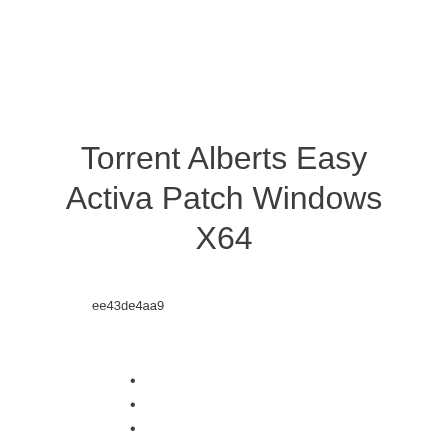Torrent Alberts Easy Activa Patch Windows X64
ee43de4aa9